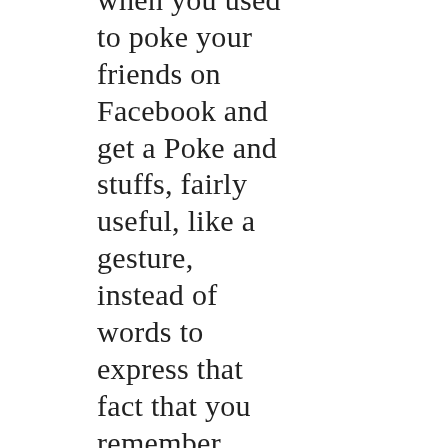when you used to poke your friends on Facebook and get a Poke and stuffs, fairly useful, like a gesture, instead of words to express that fact that you remember them or thinking about them right